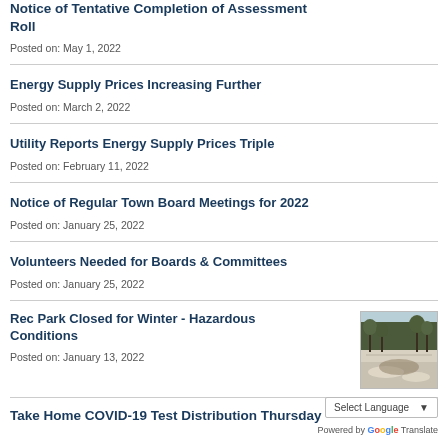Notice of Tentative Completion of Assessment Roll
Posted on: May 1, 2022
Energy Supply Prices Increasing Further
Posted on: March 2, 2022
Utility Reports Energy Supply Prices Triple
Posted on: February 11, 2022
Notice of Regular Town Board Meetings for 2022
Posted on: January 25, 2022
Volunteers Needed for Boards & Committees
Posted on: January 25, 2022
Rec Park Closed for Winter - Hazardous Conditions
Posted on: January 13, 2022
[Figure (photo): Photo of a park road covered in snow/ice with bare trees in background - winter hazardous conditions]
Take Home COVID-19 Test Distribution Thursday